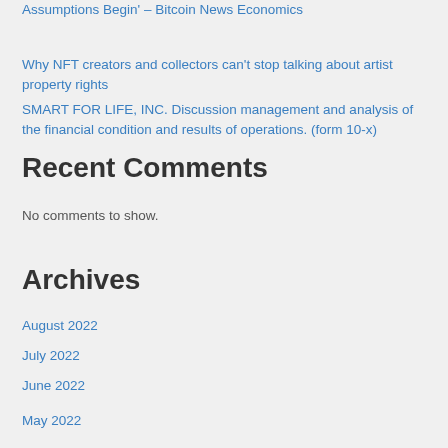Assumptions Begin' – Bitcoin News Economics
Why NFT creators and collectors can't stop talking about artist property rights
SMART FOR LIFE, INC. Discussion management and analysis of the financial condition and results of operations. (form 10-x)
Recent Comments
No comments to show.
Archives
August 2022
July 2022
June 2022
May 2022